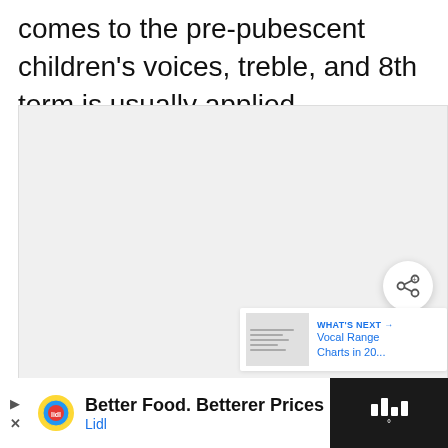comes to the pre-pubescent children's voices, treble, and 8th term is usually applied.
[Figure (other): Embedded video player area with light gray background, loading dots in the center, a share button (circular white button with share icon), and a 'WHAT'S NEXT' panel showing 'Vocal Range Charts in 20...' with a thumbnail.]
[Figure (other): Advertisement banner at bottom of page for Lidl: 'Better Food. Betterer Prices' with Lidl logo and navigation icon. Dark background on rightmost section.]